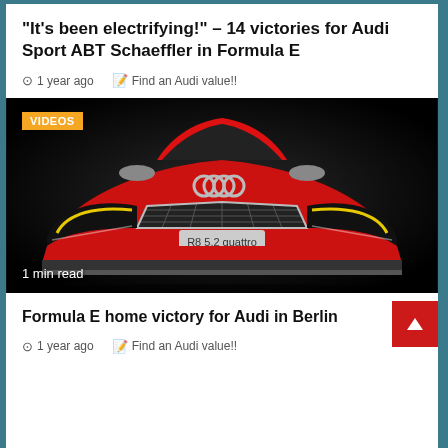“It’s been electrifying!” – 14 victories for Audi Sport ABT Schaeffler in Formula E
⏰ 1 year ago  📝 Find an Audi value!!
[Figure (photo): Front view of a red Audi R8 5.2 quattro sports car with Audi four-ring logo on grille, on dark background. Orange 'VIDEOS' badge in top-left corner. '1 min read' text overlay at bottom-left.]
Formula E home victory for Audi in Berlin
⏰ 1 year ago  📝 Find an Audi value!!